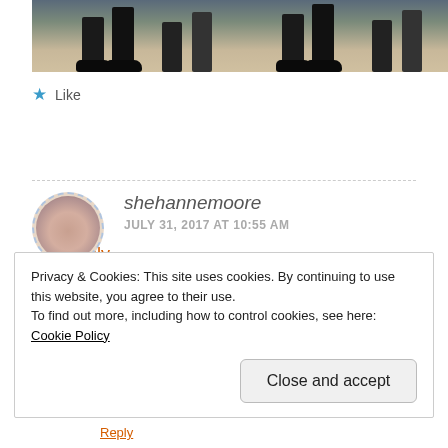[Figure (photo): Bottom portion of a group photo showing people's legs and feet standing on a path or pavement]
★ Like
Reply
shehannemoore
JULY 31, 2017 AT 10:55 AM
Privacy & Cookies: This site uses cookies. By continuing to use this website, you agree to their use.
To find out more, including how to control cookies, see here: Cookie Policy
Close and accept